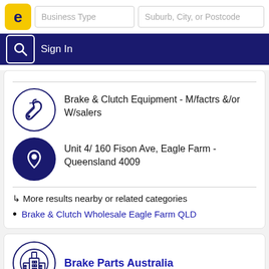Business Type | Suburb, City, or Postcode | Sign In
Brake & Clutch Equipment - M/factrs &/or W/salers
Unit 4/ 160 Fison Ave, Eagle Farm - Queensland 4009
↳ More results nearby or related categories
Brake & Clutch Wholesale Eagle Farm QLD
Brake Parts Australia
Eagle Farm